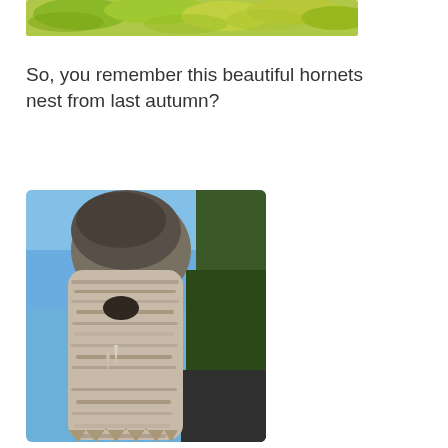[Figure (photo): Partial view of green and yellow leaves on branches, cropped at top of page]
So, you remember this beautiful hornets nest from last autumn?
[Figure (photo): A large weathered hornets nest attached to a tree, photographed in winter against a blue sky with evergreen trees in the background. The nest is tall and shredded-looking, pale gray-white in color.]